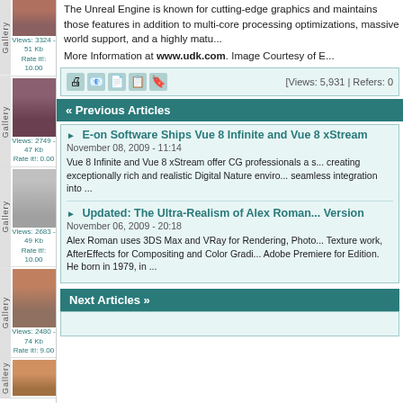[Figure (photo): 3D rendered female character portrait, gallery thumbnail]
Views: 3324 - 51 Kb
Rate it!: 10.00
[Figure (photo): 3D rendered female character, gallery thumbnail]
Views: 2749 - 47 Kb
Rate it!: 0.00
[Figure (photo): 3D rendered robot/armor characters, gallery thumbnail]
Views: 2683 - 49 Kb
Rate it!: 10.00
[Figure (photo): 3D rendered female face portrait, gallery thumbnail]
Views: 2480 - 74 Kb
Rate it!: 9.00
[Figure (photo): 3D rendered object, gallery thumbnail partial]
The Unreal Engine is known for cutting-edge graphics and maintains those features in addition to multi-core processing optimizations, massive world support, and a highly matu...
More Information at www.udk.com. Image Courtesy of E...
[Views: 5,931 | Refers: 0
« Previous Articles
E-on Software Ships Vue 8 Infinite and Vue 8 xStream
November 08, 2009 - 11:14
Vue 8 Infinite and Vue 8 xStream offer CG professionals a solution for creating exceptionally rich and realistic Digital Nature enviro... seamless integration into ...
Updated: The Ultra-Realism of Alex Roman... Version
November 06, 2009 - 20:18
Alex Roman uses 3DS Max and VRay for Rendering, Photo... Texture work, AfterEffects for Compositing and Color Gradi... Adobe Premiere for Edition. He born in 1979, in ...
Next Articles »